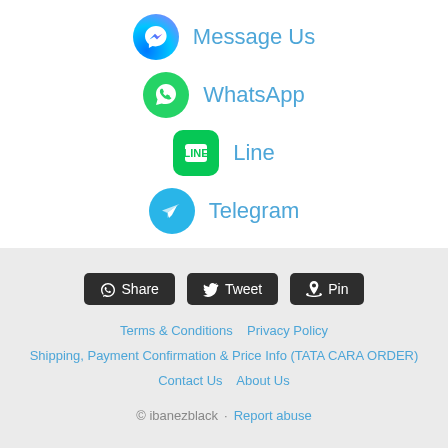Message Us
WhatsApp
Line
Telegram
Share
Tweet
Pin
Terms & Conditions   Privacy Policy
Shipping, Payment Confirmation & Price Info (TATA CARA ORDER)
Contact Us   About Us
© ibanezblack · Report abuse